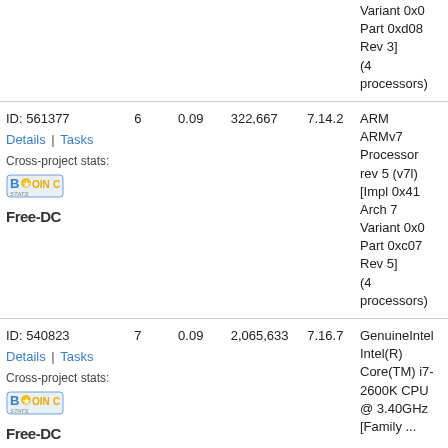| Computer | Tasks | Avg credit | Total credit | Version | CPU |
| --- | --- | --- | --- | --- | --- |
| [partial top row] |  |  |  |  | Variant 0x0 Part 0xd08 Rev 3] (4 processors) |
| ID: 561377
Details | Tasks
Cross-project stats:
[BOINC Stats]
[Free-DC] | 6 | 0.09 | 322,667 | 7.14.2 | ARM ARMv7 Processor rev 5 (v7l) [Impl 0x41 Arch 7 Variant 0x0 Part 0xc07 Rev 5] (4 processors) |
| ID: 540823
Details | Tasks
Cross-project stats:
[BOINC Stats]
[Free-DC] | 7 | 0.09 | 2,065,633 | 7.16.7 | GenuineIntel Intel(R) Core(TM) i7-2600K CPU @ 3.40GHz [Family ... |